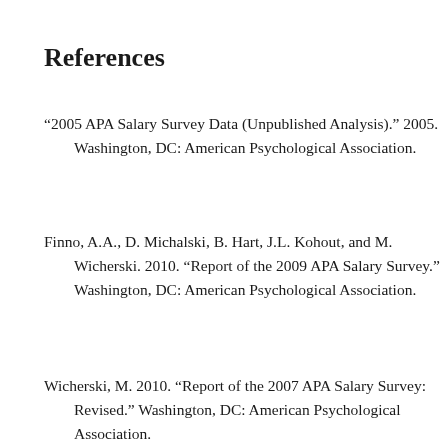References
‘2005 APA Salary Survey Data (Unpublished Analysis).” 2005. Washington, DC: American Psychological Association.
Finno, A.A., D. Michalski, B. Hart, J.L. Kohout, and M. Wicherski. 2010. “Report of the 2009 APA Salary Survey.” Washington, DC: American Psychological Association.
Wicherski, M. 2010. “Report of the 2007 APA Salary Survey: Revised.” Washington, DC: American Psychological Association.